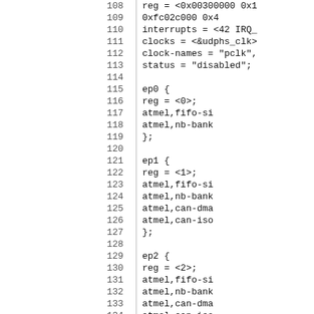Code listing lines 108-137, device tree source showing USB endpoint configuration (ep0, ep1, ep2, ep3) with reg, atmel,fifo-size, atmel,nb-banks, atmel,can-dma, atmel,can-iso properties, plus reg, interrupts, clocks, clock-names, status properties.